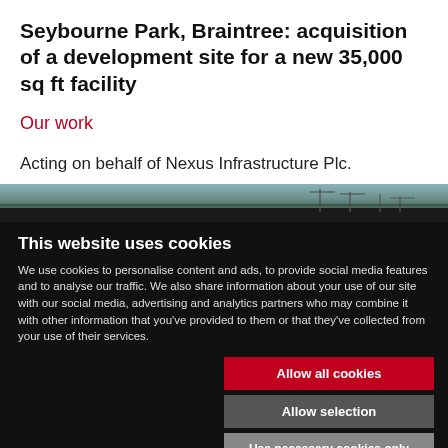Seybourne Park, Braintree: acquisition of a development site for a new 35,000 sq ft facility
Our work
Acting on behalf of Nexus Infrastructure Plc.
[Figure (photo): Landscape strip showing a construction or industrial site with cranes and equipment, dark sky]
This website uses cookies
We use cookies to personalise content and ads, to provide social media features and to analyse our traffic. We also share information about your use of our site with our social media, advertising and analytics partners who may combine it with other information that you've provided to them or that they've collected from your use of their services.
Allow all cookies
Allow selection
Use necessary cookies only
Necessary   Preferences   Statistics   Marketing   Show details